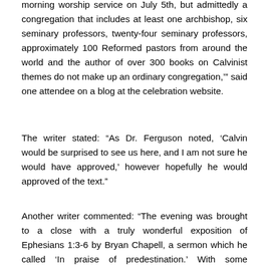morning worship service on July 5th, but admittedly a congregation that includes at least one archbishop, six seminary professors, twenty-four seminary professors, approximately 100 Reformed pastors from around the world and the author of over 300 books on Calvinist themes do not make up an ordinary congregation,'” said one attendee on a blog at the celebration website.
The writer stated: “As Dr. Ferguson noted, ‘Calvin would be surprised to see us here, and I am not sure he would have approved,’ however hopefully he would approved of the text.”
Another writer commented: “The evening was brought to a close with a truly wonderful exposition of Ephesians 1:3-6 by Bryan Chapell, a sermon which he called ‘In praise of predestination.’ With some memorable illustrations from Calvin and elsewhere, he carefully took us through the text